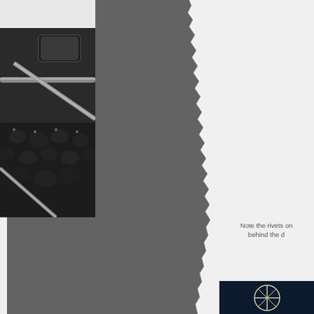[Figure (photo): Large dark gray torn paper texture on left side of page, with ragged/ torn right edge revealing light background]
[Figure (photo): Black and white close-up photograph of car interior details showing rivets, leather, chrome tubes/roll bar elements, and a rearview mirror]
Note the rivets on behind the d
[Figure (photo): Partial view of a dark photograph showing what appears to be a circular logo or emblem with crossed lines, possibly a car badge, on a dark blue/black background]